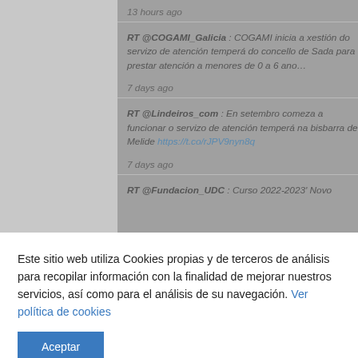13 hours ago
RT @COGAMI_Galicia : COGAMI inicia a xestión do servizo de atención temperá do concello de Sada para prestar atención a menores de 0 a 6 ano…
7 days ago
RT @Lindeiros_com : En setembro comeza a funcionar o servizo de atención temperá na bisbarra de Melide https://t.co/rJPV9nyn8q
7 days ago
RT @Fundacion_UDC : Curso 2022-2023' Novo
Este sitio web utiliza Cookies propias y de terceros de análisis para recopilar información con la finalidad de mejorar nuestros servicios, así como para el análisis de su navegación. Ver política de cookies
Aceptar